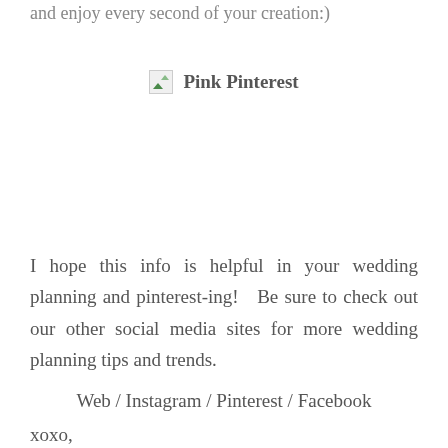and enjoy every second of your creation:)
[Figure (illustration): Broken image placeholder with 'Pink Pinterest' label text beside it]
I hope this info is helpful in your wedding planning and pinterest-ing!  Be sure to check out our other social media sites for more wedding planning tips and trends.
Web / Instagram / Pinterest / Facebook
xoxo,